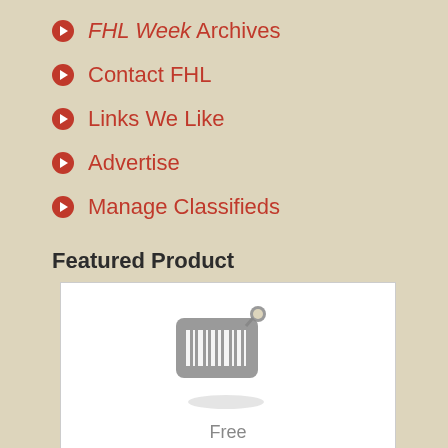FHL Week Archives
Contact FHL
Links We Like
Advertise
Manage Classifieds
Featured Product
[Figure (illustration): A price tag icon with barcode stripes in gray, displayed on a white background]